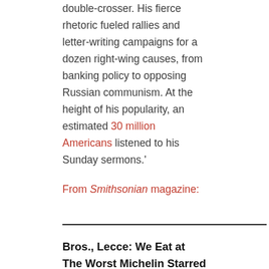double-crosser. His fierce rhetoric fueled rallies and letter-writing campaigns for a dozen right-wing causes, from banking policy to opposing Russian communism. At the height of his popularity, an estimated 30 million Americans listened to his Sunday sermons.'
From Smithsonian magazine:
Bros., Lecce: We Eat at The Worst Michelin Starred Restaurant, Ever
Finally, the viral story of the week – or perhaps the year. An absolutely hilarious and bitter review of a Michelin star restaurant in Italy.
“We headed to the restaurant with high hopes – eight of us in total. Led into a cement cell of a room, Drake pumping